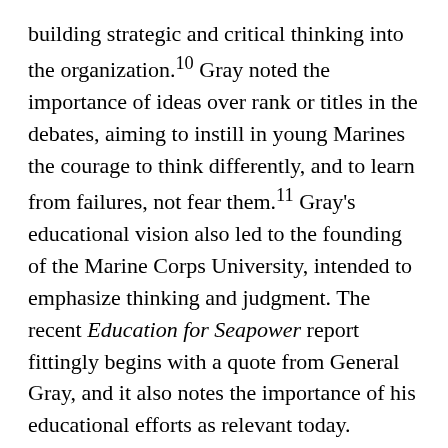building strategic and critical thinking into the organization.10 Gray noted the importance of ideas over rank or titles in the debates, aiming to instill in young Marines the courage to think differently, and to learn from failures, not fear them.11 Gray's educational vision also led to the founding of the Marine Corps University, intended to emphasize thinking and judgment. The recent Education for Seapower report fittingly begins with a quote from General Gray, and it also notes the importance of his educational efforts as relevant today.
We mention this not to show that all was great in the past but to indicate that there is much we can learn from institutional experiences in focusing on the future. With this in mind, here are two observations to aid educating and retaining innovative thinkers: